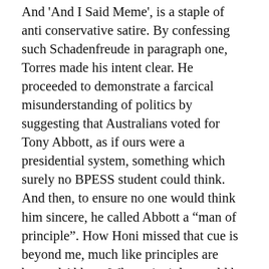And 'And I Said Meme' is a staple of anti conservative satire. By confessing such Schadenfreude in paragraph one, Torres made his intent clear. He proceeded to demonstrate a farcical misunderstanding of politics by suggesting that Australians voted for Tony Abbott, as if ours were a presidential system, something which surely no BPESS student could think. And then, to ensure no one would think him sincere, he called Abbott a “man of principle”. How Honi missed that cue is beyond me, much like principles are beyond Abbott. What principles could he have? Family values are a common claim but, as evidenced by consigning his own sister to second-class citizenship, Abbott doesn’t even value his own family.